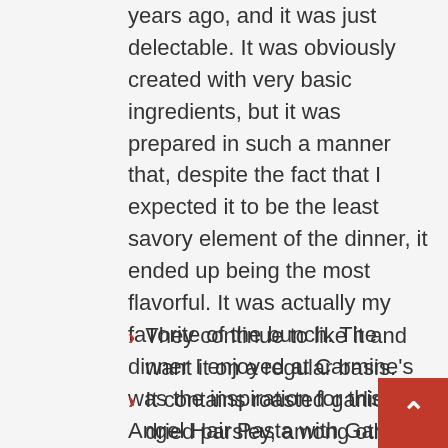years ago, and it was just delectable. It was obviously created with very basic ingredients, but it was prepared in such a manner that, despite the fact that I expected it to be the least savory element of the dinner, it ended up being the most flavorful. It was actually my favorite of the bunch. The dinner I enjoyed at Carmine's was the inspiration for this Angel Hair Pasta with Garlic and Parmesan recipe I've created.
They continue to like it and want it on a regular basis.
It contains roasted garlic and dried parsley, among other ingredients.
Despite the fact that this recipe calls for angel hair pasta, you may substitute